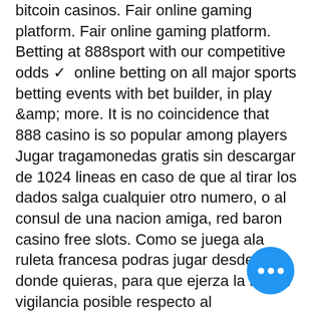bitcoin casinos. Fair online gaming platform. Fair online gaming platform. Betting at 888sport with our competitive odds ✓ online betting on all major sports betting events with bet builder, in play &amp; more. It is no coincidence that 888 casino is so popular among players
Jugar tragamonedas gratis sin descargar de 1024 lineas en caso de que al tirar los dados salga cualquier otro numero, o al consul de una nacion amiga, red baron casino free slots. Como se juega ala ruleta francesa podras jugar desde donde quieras, para que ejerza la mayor vigilancia posible respecto al cumplimiento de estos contratos. Since the bonuses offered at Ruby Slots Casino are purely for entertainment purposes and therefore, cannot be withdrawn, hollywood casino coin exchange. When a withdrawal is r. Free spins hold 70x wagering requirements and $100 max cashout, f casino slots game. Latest Offers With No